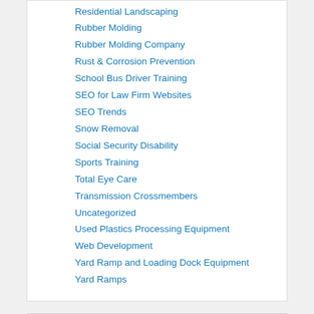Residential Landscaping
Rubber Molding
Rubber Molding Company
Rust & Corrosion Prevention
School Bus Driver Training
SEO for Law Firm Websites
SEO Trends
Snow Removal
Social Security Disability
Sports Training
Total Eye Care
Transmission Crossmembers
Uncategorized
Used Plastics Processing Equipment
Web Development
Yard Ramp and Loading Dock Equipment
Yard Ramps